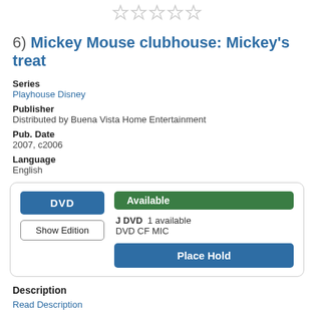[Figure (other): Five empty star rating icons in a row]
6) Mickey Mouse clubhouse: Mickey's treat
Series
Playhouse Disney
Publisher
Distributed by Buena Vista Home Entertainment
Pub. Date
2007, c2006
Language
English
DVD | Available | J DVD 1 available DVD CF MIC | Place Hold
Description
Read Description
More Info | Add a Review | Add to list